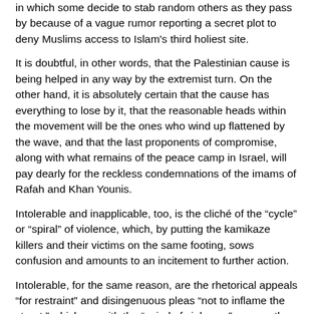in which some decide to stab random others as they pass by because of a vague rumor reporting a secret plot to deny Muslims access to Islam's third holiest site.
It is doubtful, in other words, that the Palestinian cause is being helped in any way by the extremist turn. On the other hand, it is absolutely certain that the cause has everything to lose by it, that the reasonable heads within the movement will be the ones who wind up flattened by the wave, and that the last proponents of compromise, along with what remains of the peace camp in Israel, will pay dearly for the reckless condemnations of the imams of Rafah and Khan Younis.
Intolerable and inapplicable, too, is the cliché of the “cycle” or “spiral” of violence, which, by putting the kamikaze killers and their victims on the same footing, sows confusion and amounts to an incitement to further action.
Intolerable, for the same reason, are the rhetorical appeals “for restraint” and disingenuous pleas “not to inflame the street,” which, as with the “spiral of violence,” reverse the order of causality by implying that a soldier, police officer or civilian acting in self-defense has committed a wrong equal to that of someone who chooses to die after spreading as much terror as he possibly can.
Strange indeed, how tepid are the condemnations of the stabbings of innocent passers-by and rammings of bus stops — condemnations